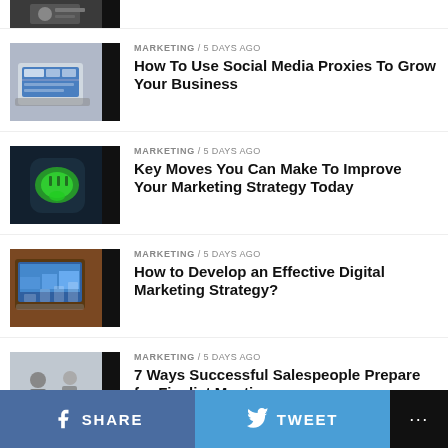[Figure (photo): Top partial article thumbnail — person in professional setting, cropped]
[Figure (photo): Laptop on desk with social media icons on screen]
MARKETING / 5 days ago
How To Use Social Media Proxies To Grow Your Business
[Figure (photo): Green speech bubble chat icon on dark background]
MARKETING / 5 days ago
Key Moves You Can Make To Improve Your Marketing Strategy Today
[Figure (photo): Digital marketing analytics on monitor and papers]
MARKETING / 5 days ago
How to Develop an Effective Digital Marketing Strategy?
[Figure (photo): Two people in a meeting room with laptop]
MARKETING / 5 days ago
7 Ways Successful Salespeople Prepare for Finalist Meetings
SHARE   TWEET   ...